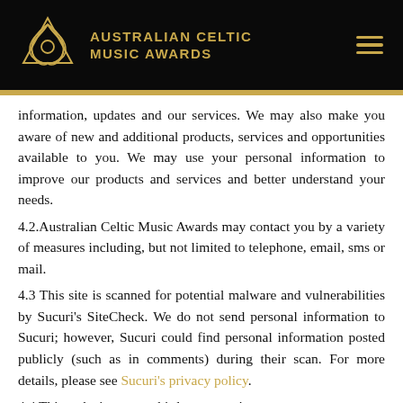AUSTRALIAN CELTIC MUSIC AWARDS
information, updates and our services. We may also make you aware of new and additional products, services and opportunities available to you. We may use your personal information to improve our products and services and better understand your needs.
4.2.Australian Celtic Music Awards may contact you by a variety of measures including, but not limited to telephone, email, sms or mail.
4.3 This site is scanned for potential malware and vulnerabilities by Sucuri's SiteCheck. We do not send personal information to Sucuri; however, Sucuri could find personal information posted publicly (such as in comments) during their scan. For more details, please see Sucuri's privacy policy.
4.4 This web site uses a third party service to manage